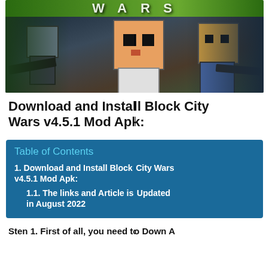[Figure (illustration): Minecraft-style game promotional image for Block City Wars showing blocky characters with weapons on a dark background with 'WARS' text at top]
Download and Install Block City Wars v4.5.1 Mod Apk:
| Table of Contents |
| --- |
| 1. Download and Install Block City Wars v4.5.1 Mod Apk: |
| 1.1.  The links and Article is Updated in August 2022 |
Sten 1. First of all...